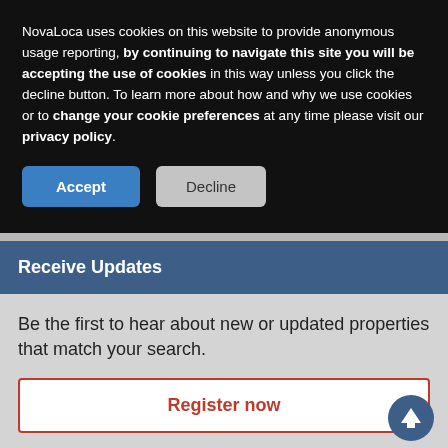NovaLoca uses cookies on this website to provide anonymous usage reporting, by continuing to navigate this site you will be accepting the use of cookies in this way unless you click the decline button. To learn more about how and why we use cookies or to change your cookie preferences at any time please visit our privacy policy.
[Figure (screenshot): Two buttons: Accept (blue) and Decline (grey)]
Receive Updates
Be the first to hear about new or updated properties that match your search.
Register now